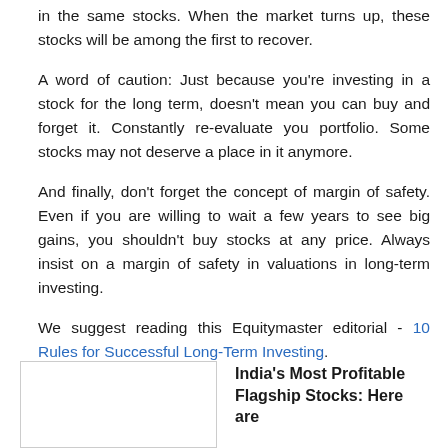fundamentals, you should consider investing more money in the same stocks. When the market turns up, these stocks will be among the first to recover.
A word of caution: Just because you're investing in a stock for the long term, doesn't mean you can buy and forget it. Constantly re-evaluate you portfolio. Some stocks may not deserve a place in it anymore.
And finally, don't forget the concept of margin of safety. Even if you are willing to wait a few years to see big gains, you shouldn't buy stocks at any price. Always insist on a margin of safety in valuations in long-term investing.
We suggest reading this Equitymaster editorial - 10 Rules for Successful Long-Term Investing.
[Figure (other): Partial view of a promotional box/advertisement with image placeholder on the left and bold text 'India's Most Profitable Flagship Stocks: Here are...' on the right]